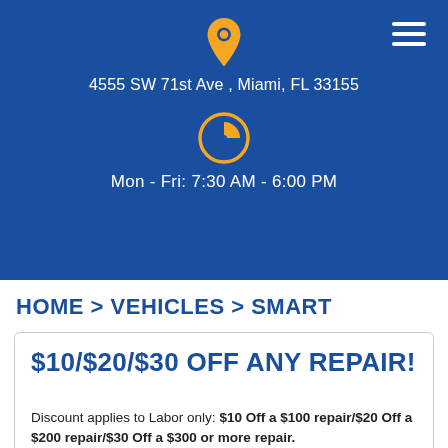[Figure (infographic): Blue header section with yellow location pin icon, address text, yellow clock icon, and hamburger menu icon]
4555 SW 71st Ave , Miami, FL 33155
Mon - Fri: 7:30 AM - 6:00 PM
HOME > VEHICLES > SMART
$10/$20/$30 OFF ANY REPAIR!
Discount applies to Labor only: $10 Off a $100 repair/$20 Off a $200 repair/$30 Off a $300 or more repair. Not valid with other offer or special. Coupon must be presented in advance ... [More]